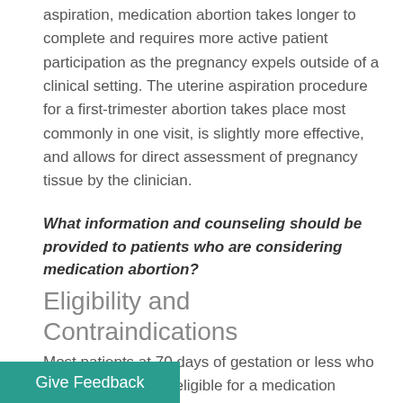aspiration, medication abortion takes longer to complete and requires more active patient participation as the pregnancy expels outside of a clinical setting. The uterine aspiration procedure for a first-trimester abortion takes place most commonly in one visit, is slightly more effective, and allows for direct assessment of pregnancy tissue by the clinician.
What information and counseling should be provided to patients who are considering medication abortion?
Eligibility and Contraindications
Most patients at 70 days of gestation or less who desire abortion are eligible for a medication abortion. There are medical conditions for which a medication abortion may be contraindicated compared to uterine aspiration. Such examples include